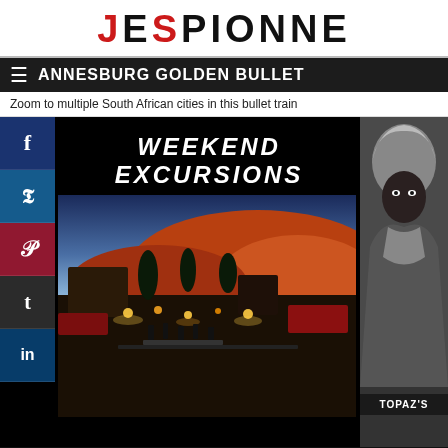JESPIONNE
ANNESBURG GOLDEN BULLET
Zoom to multiple South African cities in this bullet train
[Figure (illustration): Weekend Excursions section header over black background, with social media sidebar (Facebook, Twitter, Pinterest, Tumblr, LinkedIn), desert palace photo showing outdoor dining scene at dusk with red sand dunes, and Topaz illustrated portrait on the right]
ALI'S & SARA'S DESERT PALACE